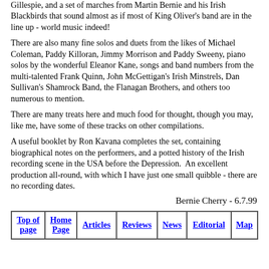Gillespie, and a set of marches from Martin Bernie and his Irish Blackbirds that sound almost as if most of King Oliver's band are in the line up - world music indeed!
There are also many fine solos and duets from the likes of Michael Coleman, Paddy Killoran, Jimmy Morrison and Paddy Sweeny, piano solos by the wonderful Eleanor Kane, songs and band numbers from the multi-talented Frank Quinn, John McGettigan's Irish Minstrels, Dan Sullivan's Shamrock Band, the Flanagan Brothers, and others too numerous to mention.
There are many treats here and much food for thought, though you may, like me, have some of these tracks on other compilations.
A useful booklet by Ron Kavana completes the set, containing biographical notes on the performers, and a potted history of the Irish recording scene in the USA before the Depression.  An excellent production all-round, with which I have just one small quibble - there are no recording dates.
Bernie Cherry - 6.7.99
| Top of page | Home Page | Articles | Reviews | News | Editorial | Map |
| --- | --- | --- | --- | --- | --- | --- |